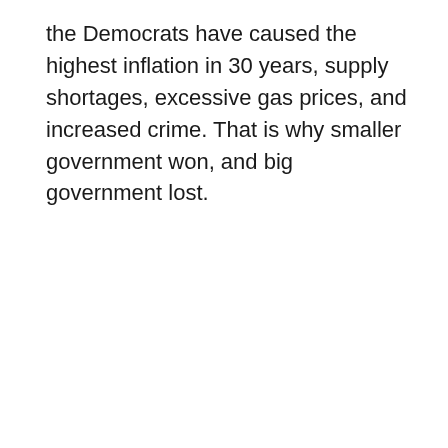the Democrats have caused the highest inflation in 30 years, supply shortages, excessive gas prices, and increased crime. That is why smaller government won, and big government lost.